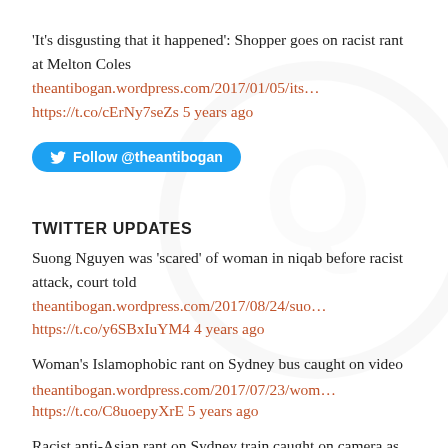'It's disgusting that it happened': Shopper goes on racist rant at Melton Coles theantibogan.wordpress.com/2017/01/05/its… https://t.co/cErNy7seZs 5 years ago
[Figure (other): Twitter Follow @theantibogan button (blue pill-shaped button with Twitter bird icon)]
TWITTER UPDATES
Suong Nguyen was 'scared' of woman in niqab before racist attack, court told theantibogan.wordpress.com/2017/08/24/suo… https://t.co/y6SBxIuYM4 4 years ago
Woman's Islamophobic rant on Sydney bus caught on video theantibogan.wordpress.com/2017/07/23/wom… https://t.co/C8uoepyXrE 5 years ago
Racist anti-Asian rant on Sydney train caught on camera as